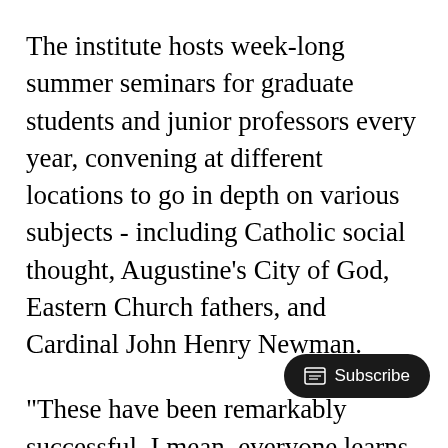The institute hosts week-long summer seminars for graduate students and junior professors every year, convening at different locations to go in depth on various subjects - including Catholic social thought, Augustine’s City of God, Eastern Church fathers, and Cardinal John Henry Newman.
“These have been remarkably successful. I mean, everyone learns a ton from one another and I couldn't even count the number of dissertations and books I know have come out of those summer